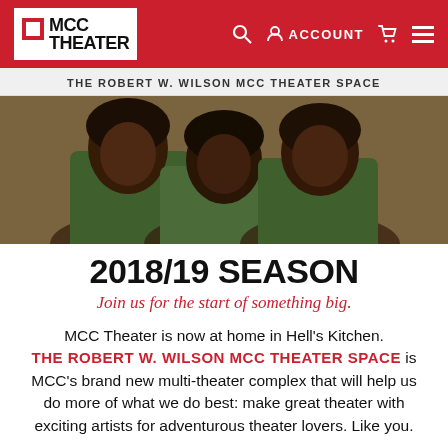MCC THEATER — ACCOUNT — THE ROBERT W. WILSON MCC THEATER SPACE
[Figure (photo): Three Black women posing together in front of a patterned background, wearing green tops, theatrical scene]
2018/19 SEASON
Join us for the start of something big.
MCC Theater is now at home in Hell's Kitchen. THE ROBERT W. WILSON MCC THEATER SPACE is MCC's brand new multi-theater complex that will help us do more of what we do best: make great theater with exciting artists for adventurous theater lovers. Like you.